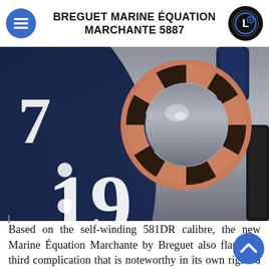BREGUET MARINE ÉQUATION MARCHANTE 5887
[Figure (photo): Close-up macro photograph of Breguet Marine Équation Marchante 5887 watch face showing the date display with number 19, a rose gold tourbillon carriage with alternating dark and gold segments, on a brushed steel dial with dark blue accents.]
Based on the self-winding 581DR calibre, the new Marine Équation Marchante by Breguet also flaunts a third complication that is noteworthy in its own right: a 60-second tourbillon with a titanium carriage housing a Breguet balance with a silicon balance spring. This innovative characteristic notably enables the balance wheel to achieve a 4Hz frequency